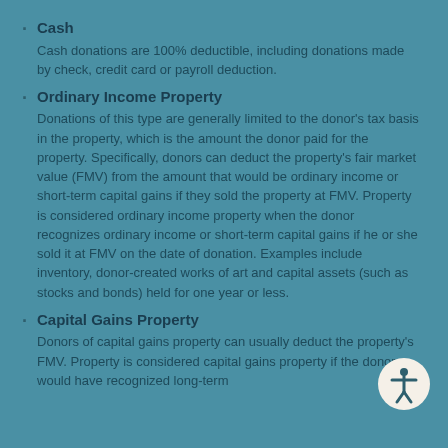Cash
Cash donations are 100% deductible, including donations made by check, credit card or payroll deduction.
Ordinary Income Property
Donations of this type are generally limited to the donor's tax basis in the property, which is the amount the donor paid for the property. Specifically, donors can deduct the property's fair market value (FMV) from the amount that would be ordinary income or short-term capital gains if they sold the property at FMV. Property is considered ordinary income property when the donor recognizes ordinary income or short-term capital gains if he or she sold it at FMV on the date of donation. Examples include inventory, donor-created works of art and capital assets (such as stocks and bonds) held for one year or less.
Capital Gains Property
Donors of capital gains property can usually deduct the property's FMV. Property is considered capital gains property if the donor would have recognized long-term...